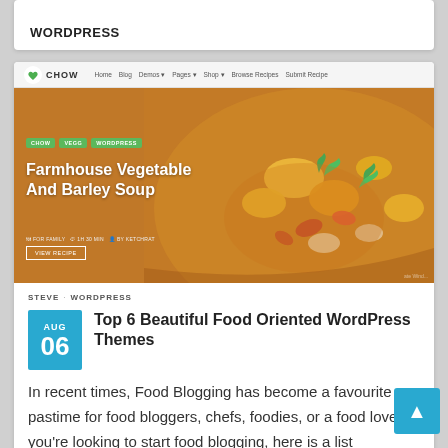WORDPRESS
[Figure (screenshot): Screenshot of the 'Chow' WordPress food theme showing hero image of Farmhouse Vegetable And Barley Soup with navigation bar]
STEVE · WORDPRESS
Top 6 Beautiful Food Oriented WordPress Themes
In recent times, Food Blogging has become a favourite pastime for food bloggers, chefs, foodies, or a food lover. If you're looking to start food blogging, here is a list